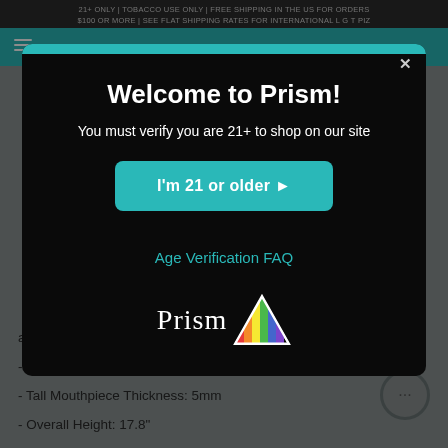21+ ONLY | TOBACCO USE ONLY | FREE SHIPPING IN THE US FOR ORDERS $100 OR MORE | SEE FLAT SHIPPING RATES FOR INTERNATIONAL L G T PIZ
adventure.
- Beaker Base Thickness: 7mm
- Tall Mouthpiece Thickness: 5mm
- Overall Height: 17.8"
Welcome to Prism!
You must verify you are 21+ to shop on our site
I'm 21 or older ▸
Age Verification FAQ
[Figure (logo): Prism logo: word 'Prism' in white serif font with a colorful rainbow triangle prism icon to the right]